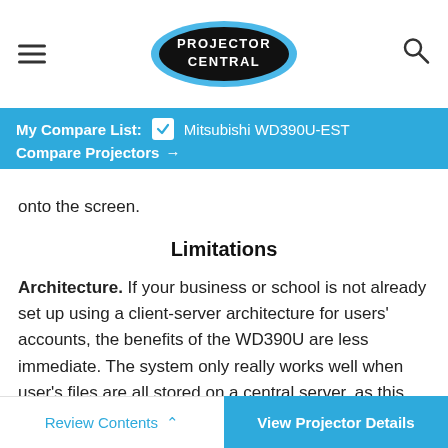Projector Central
My Compare List: ✓ Mitsubishi WD390U-EST
Compare Projectors →
onto the screen.
Limitations
Architecture. If your business or school is not already set up using a client-server architecture for users' accounts, the benefits of the WD390U are less immediate. The system only really works well when user's files are all stored on a central server, as this server will link to the projector or projectors and allow use of the remote login
Review Contents ^	View Projector Details